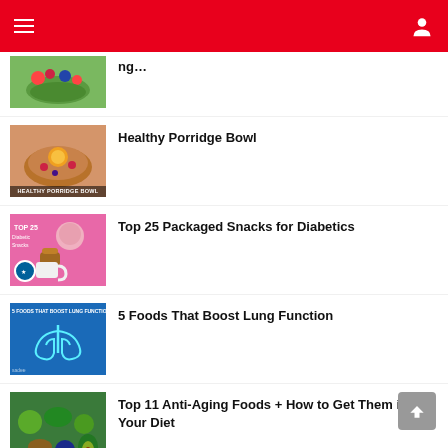Navigation bar with menu, dark-mode toggle, and user icon
Healthy Porridge Bowl
Top 25 Packaged Snacks for Diabetics
5 Foods That Boost Lung Function
Top 11 Anti-Aging Foods + How to Get Them in Your Diet
Diabetes May Be Detected 20 Years Before...